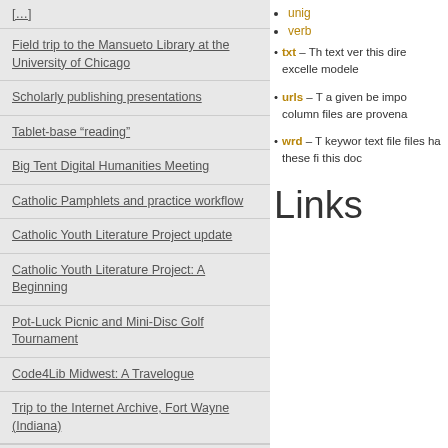Field trip to the Mansueto Library at the University of Chicago
Scholarly publishing presentations
Tablet-base “reading”
Big Tent Digital Humanities Meeting
Catholic Pamphlets and practice workflow
Catholic Youth Literature Project update
Catholic Youth Literature Project: A Beginning
Pot-Luck Picnic and Mini-Disc Golf Tournament
Code4Lib Midwest: A Travelogue
Trip to the Internet Archive, Fort Wayne (Indiana)
Subscribe
unig
verb
txt – Th text ver this dire excelle modele
urls – T a given be impo column files are provena
wrd – T keywor text file files ha these fi this doc
Links